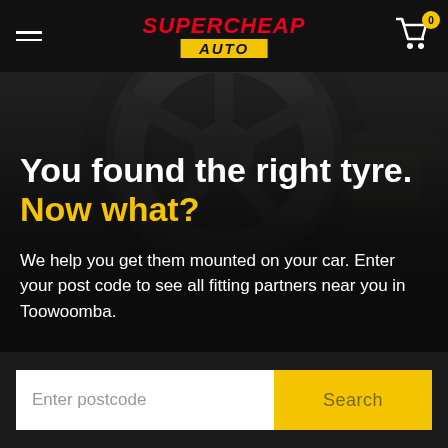Supercheap Auto — navigation bar with hamburger menu, logo, and cart (0 items)
[Figure (photo): Dark background photo of a mechanic working on a car tyre/wheel from below, tyre visible from underside]
You found the right tyre.
Now what?
We help you get them mounted on your car. Enter your post code to see all fitting partners near you in Toowoomba.
Enter postcode  Search